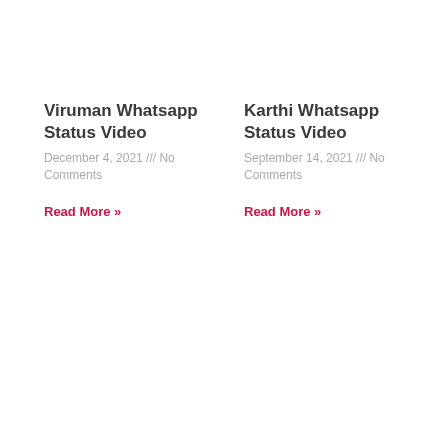Viruman Whatsapp Status Video
December 4, 2021 /// No Comments
Read More »
Karthi Whatsapp Status Video
September 14, 2021 /// No Comments
Read More »